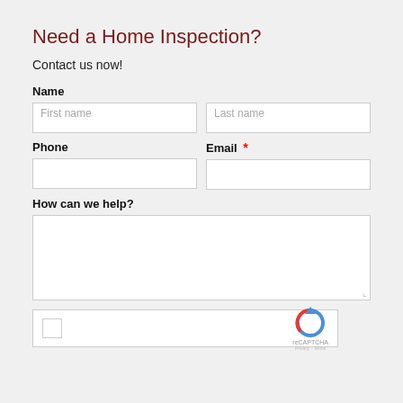Need a Home Inspection?
Contact us now!
Name
First name (input field)
Last name (input field)
Phone
Email *
How can we help?
[Figure (other): reCAPTCHA widget with checkbox and logo]